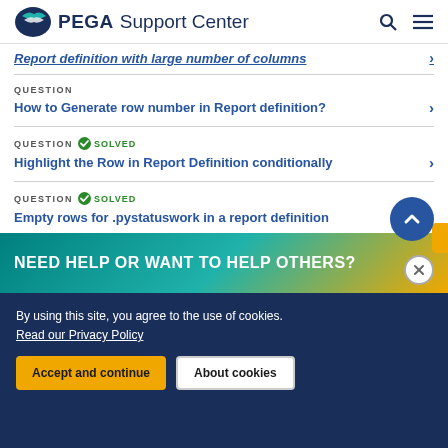PEGA Support Center
Report definition with large number of columns
QUESTION - How to Generate row number in Report definition?
QUESTION SOLVED - Highlight the Row in Report Definition conditionally
QUESTION SOLVED - Empty rows for .pystatuswork in a report definition
QUESTION
NEED HELP OR WANT TO HELP OTHERS?
By using this site, you agree to the use of cookies. Read our Privacy Policy
Accept and continue | About cookies